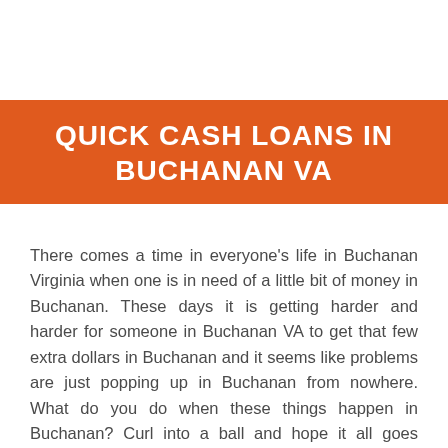QUICK CASH LOANS IN BUCHANAN VA
There comes a time in everyone's life in Buchanan Virginia when one is in need of a little bit of money in Buchanan. These days it is getting harder and harder for someone in Buchanan VA to get that few extra dollars in Buchanan and it seems like problems are just popping up in Buchanan from nowhere. What do you do when these things happen in Buchanan? Curl into a ball and hope it all goes away? You do something about it in Buchanan and the best thing to do is get bad credit funding.
The ugly word loan. It scares a lot of people in